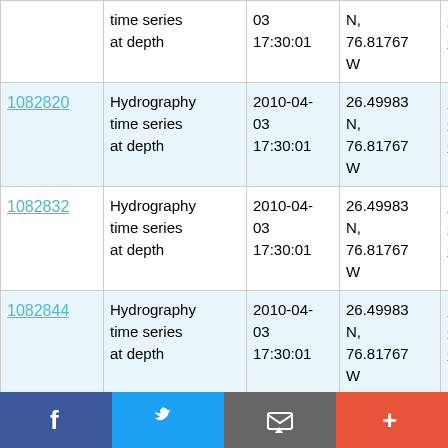| ID | Type | Date/Time | Location | Cruise |
| --- | --- | --- | --- | --- |
| (continued) | Hydrography time series at depth | 2010-04-03 17:30:01 | N, 76.81767 W | RV Oceanus OC459-1 |
| 1082820 | Hydrography time series at depth | 2010-04-03 17:30:01 | 26.49983 N, 76.81767 W | RV Oceanus OC459-1 |
| 1082832 | Hydrography time series at depth | 2010-04-03 17:30:01 | 26.49983 N, 76.81767 W | RV Oceanus OC459-1 |
| 1082844 | Hydrography time series at depth | 2010-04-03 17:30:01 | 26.49983 N, 76.81767 W | RV Oceanus OC459-1 |